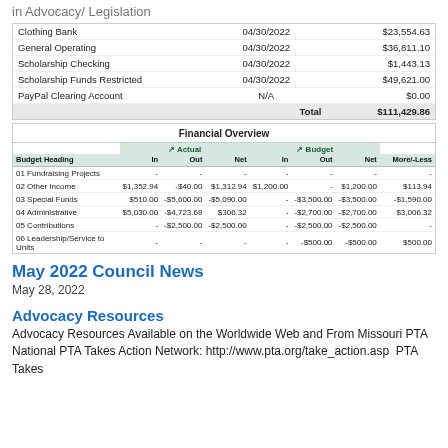in Advocacy/ Legislation
|  |  |  |
| --- | --- | --- |
| Clothing Bank | 04/30/2022 | $23,554.63 |
| General Operating | 04/30/2022 | $36,811.10 |
| Scholarship Checking | 04/30/2022 | $1,443.13 |
| Scholarship Funds Restricted | 04/30/2022 | $49,621.00 |
| PayPal Clearing Account | N/A | $0.00 |
|  | Total | $111,429.86 |
| Budget Heading | In (Actual) | Out (Actual) | Net (Actual) | In (Budget) | Out (Budget) | Net (Budget) | More/-Less |
| --- | --- | --- | --- | --- | --- | --- | --- |
| 01 Fundraising Projects | - | - | - | - | - | - | - |
| 02 Other Income | $1,352.94 | -$40.00 | $1,312.94 | $1,200.00 | - | $1,200.00 | $113.94 |
| 03 Special Funds | $510.00 | -$5,600.00 | -$5,090.00 | - | -$3,500.00 | -$3,500.00 | -$1,590.00 |
| 04 Administrative | $5,030.00 | -$4,723.68 | $306.32 | - | -$2,700.00 | -$2,700.00 | $3,006.32 |
| 05 Contributions | - | -$2,500.00 | -$2,500.00 | - | -$2,500.00 | -$2,500.00 | - |
| 06 Leadership/Service to Units | - | - | - | - | -$500.00 | -$500.00 | $500.00 |
May 2022 Council News
May 28, 2022
Advocacy Resources
Advocacy Resources Available on the Worldwide Web and From Missouri PTA  National PTA Takes Action Network: http://www.pta.org/take_action.asp  PTA Takes